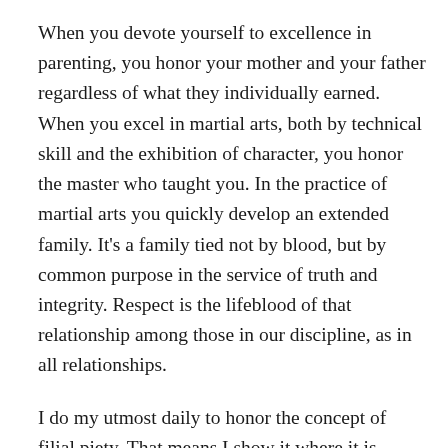When you devote yourself to excellence in parenting, you honor your mother and your father regardless of what they individually earned. When you excel in martial arts, both by technical skill and the exhibition of character, you honor the master who taught you. In the practice of martial arts you quickly develop an extended family. It's a family tied not by blood, but by common purpose in the service of truth and integrity. Respect is the lifeblood of that relationship among those in our discipline, as in all relationships.
I do my utmost daily to honor the concept of filial piety. That means I show it where it is merited, and concentrate on earning it every day from my daughter. That's the circle in which filial piety means something, in my life. Outside of that circle, it's meaningless. With a disgraceful parent in our past, we do the greatest honor to filial piety by being a great father or mother regardless of what life's parental lottery provided